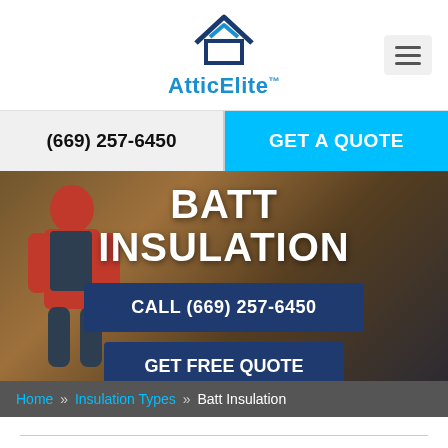[Figure (logo): AtticElite logo with house/roof icon in dark blue and brand name in blue]
(669) 257-6450
GET A QUOTE
BATT INSULATION
CALL (669) 257-6450
GET FREE QUOTE
Home » Insulation Types » Batt Insulation